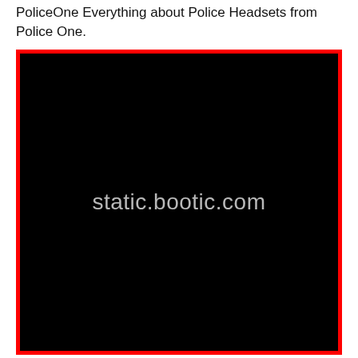PoliceOne Everything about Police Headsets from Police One.
[Figure (other): Black image placeholder with red border and watermark text reading 'static.bootic.com']